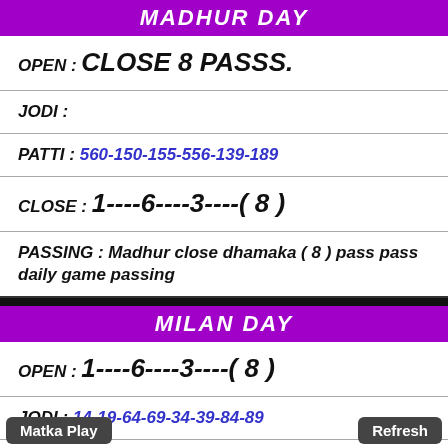MADHUR DAY
OPEN : CLOSE 8 PASSS.
JODI :
PATTI : 560-150-155-556-139-189
CLOSE : 1----6----3----( 8 )
PASSING : Madhur close dhamaka ( 8 ) pass pass daily game passing
MILAN DAY
OPEN : 1----6----3----( 8 )
JODI : 14-19-64-69-34-39-84-89
PATTI : 123-678-128-178-689-468